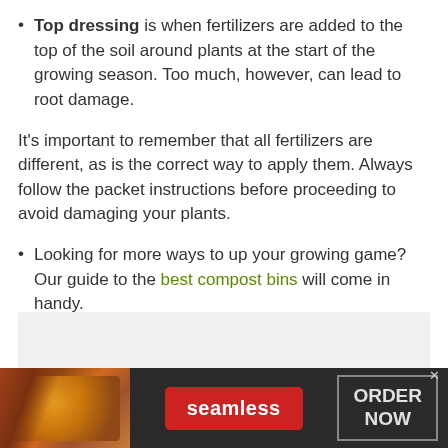Top dressing is when fertilizers are added to the top of the soil around plants at the start of the growing season. Too much, however, can lead to root damage.
It's important to remember that all fertilizers are different, as is the correct way to apply them. Always follow the packet instructions before proceeding to avoid damaging your plants.
Looking for more ways to up your growing game? Our guide to the best compost bins will come in handy.
[Figure (screenshot): Gray placeholder box for an advertisement content area]
[Figure (screenshot): Seamless food delivery advertisement banner with pizza image on the left, a red Seamless button in the center, and an ORDER NOW button on the right, on a dark background]